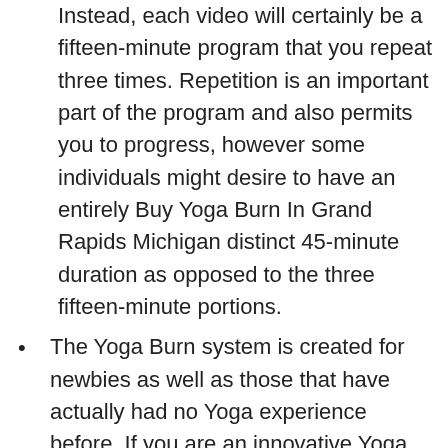Instead, each video will certainly be a fifteen-minute program that you repeat three times. Repetition is an important part of the program and also permits you to progress, however some individuals might desire to have an entirely Buy Yoga Burn In Grand Rapids Michigan distinct 45-minute duration as opposed to the three fifteen-minute portions.
The Yoga Burn system is created for newbies as well as those that have actually had no Yoga experience before. If you are an innovative Yoga pupil or you have a solid history of health and fitness, this program may not be the best choice for you and most likely won't be testing sufficient to see major renovations in your health and fitness degrees or Yoga practice.